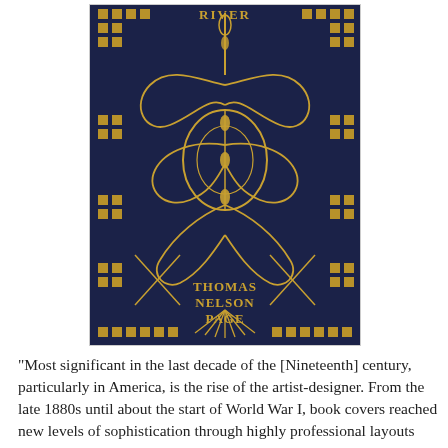[Figure (photo): Photograph of an ornate book cover with dark navy blue background and elaborate gold Art Nouveau decorative patterns including scrolling foliage, geometric grid squares at corners and borders, and a central symmetrical floral/plant motif. The author name 'THOMAS NELSON PAGE' is printed in gold text at the bottom center of the cover.]
"Most significant in the last decade of the [Nineteenth] century, particularly in America, is the rise of the artist-designer. From the late 1880s until about the start of World War I, book covers reached new levels of sophistication through highly professional layouts and stylized pictorial